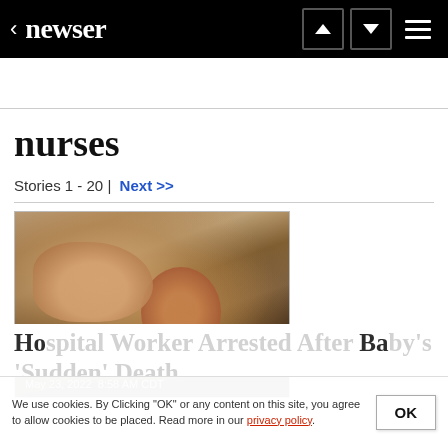< newser
nurses
Stories 1 - 20 | Next >>
[Figure (photo): Photo of a medical professional's hand near a newborn infant in a hospital setting, with warm amber lighting.]
Hospital Worker Arrested After Baby's 'Sudden' Death
May 23, 2022  8:58 AM CDT
Hospital Worker Arrested After Baby's 'Sudden' Death
We use cookies. By Clicking "OK" or any content on this site, you agree to allow cookies to be placed. Read more in our privacy policy.